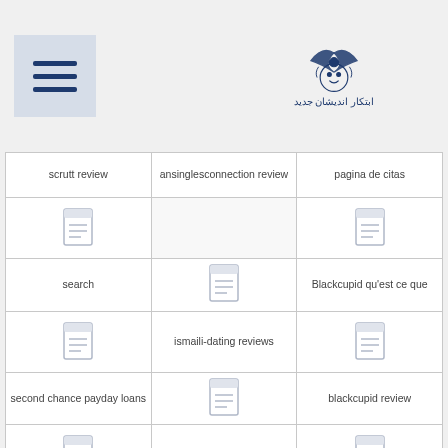Navigation menu and site logo
| Col1 | Col2 | Col3 |
| --- | --- | --- |
| scrutt review | ansinglesconnection review | pagina de citas |
| [icon] | [icon] | [icon] |
| search | ismaili-dating reviews | Blackcupid qu'est ce que |
| [icon] | [icon] | [icon] |
| second chance payday loans | Japanese Dating visitors | blackcupid review |
| [icon] | [icon] | [icon] |
| Secret Benefits applicazione | jdate hookup sites | Blackcupid web de citas |
| [icon] | [icon] | [icon] |
| secret benefits dating | [icon] | Blackdatingforfree |